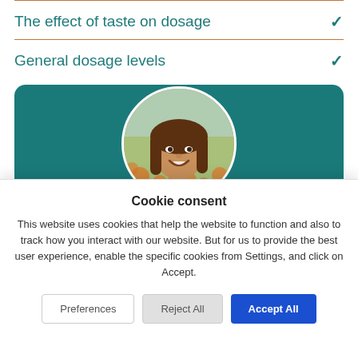The effect of taste on dosage
General dosage levels
[Figure (photo): Circular portrait photo of a smiling man with long brown hair, set against a teal background card with rounded corners.]
Cookie consent
This website uses cookies that help the website to function and also to track how you interact with our website. But for us to provide the best user experience, enable the specific cookies from Settings, and click on Accept.
Preferences | Reject All | Accept All